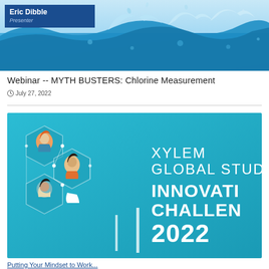[Figure (photo): Water splashing background image with blue water waves and droplets. In the top-left corner there is a dark blue presenter badge showing 'Eric Dibble' as the name and 'Presenter' as the role.]
Webinar -- MYTH BUSTERS: Chlorine Measurement
July 27, 2022
[Figure (illustration): Xylem Global Student Innovation Challenge 2022 promotional banner. Teal/blue background with illustrated figures of three people inside hexagonal frames on the left and wind turbines at the bottom center. Text on the right reads: XYLEM GLOBAL STUD INNOVATI CHALLEN 2022 in white bold font.]
Putting Your Mindset to Work...